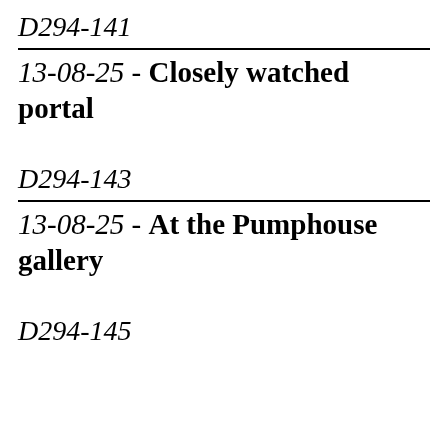D294-141
13-08-25 - Closely watched portal
D294-143
13-08-25 - At the Pumphouse gallery
D294-145